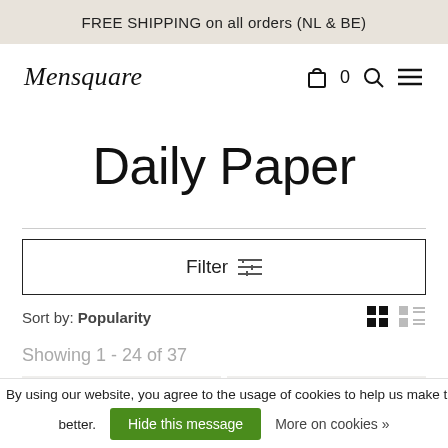FREE SHIPPING on all orders (NL & BE)
Mensquare
Daily Paper
Filter
Sort by: Popularity
Showing 1 - 24 of 37
By using our website, you agree to the usage of cookies to help us make this website better. Hide this message More on cookies »